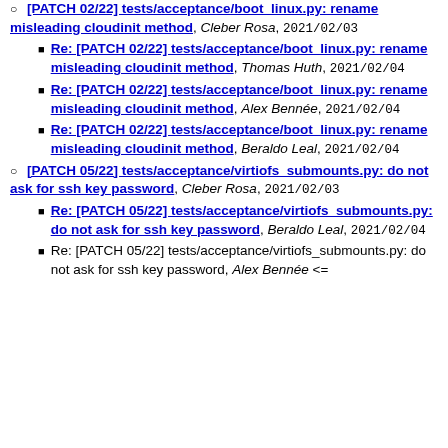[PATCH 02/22] tests/acceptance/boot_linux.py: rename misleading cloudinit method, Cleber Rosa, 2021/02/03
Re: [PATCH 02/22] tests/acceptance/boot_linux.py: rename misleading cloudinit method, Thomas Huth, 2021/02/04
Re: [PATCH 02/22] tests/acceptance/boot_linux.py: rename misleading cloudinit method, Alex Bennée, 2021/02/04
Re: [PATCH 02/22] tests/acceptance/boot_linux.py: rename misleading cloudinit method, Beraldo Leal, 2021/02/04
[PATCH 05/22] tests/acceptance/virtiofs_submounts.py: do not ask for ssh key password, Cleber Rosa, 2021/02/03
Re: [PATCH 05/22] tests/acceptance/virtiofs_submounts.py: do not ask for ssh key password, Beraldo Leal, 2021/02/04
Re: [PATCH 05/22] tests/acceptance/virtiofs_submounts.py: do not ask for ssh key password, Alex Bennée <=